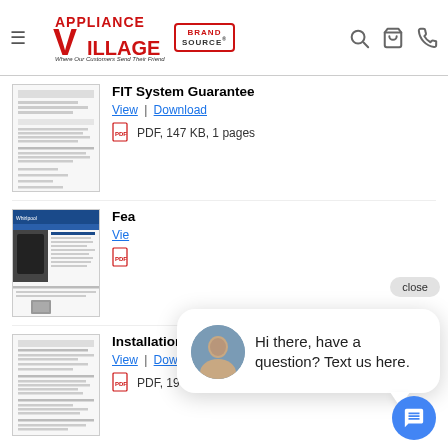Appliance Village — Where Our Customers Send Their Friends | Brand Source
[Figure (screenshot): FIT System Guarantee document thumbnail — scanned form with text lines]
FIT System Guarantee
View | Download
PDF, 147 KB, 1 pages
[Figure (screenshot): Feature Sheet document thumbnail — Whirlpool oven spec sheet with blue header]
Feature Sheet
View | Download
PDF
[Figure (screenshot): Installation Instruction document thumbnail — text-heavy installation instructions page]
Installation Instruction
View | Download
PDF, 19 MB
[Figure (screenshot): Chat popup overlay with agent photo and message: Hi there, have a question? Text us here.]